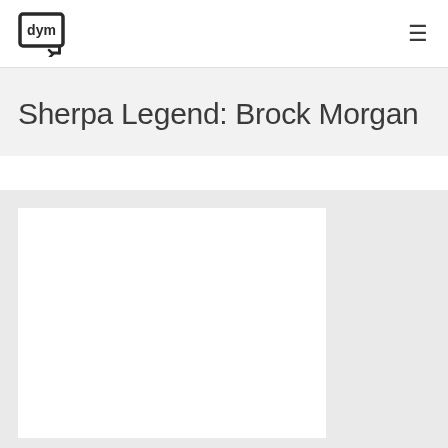dym [logo] | hamburger menu
Sherpa Legend: Brock Morgan
[Figure (photo): White rectangular image placeholder on a light grey background, partially visible at bottom of page]